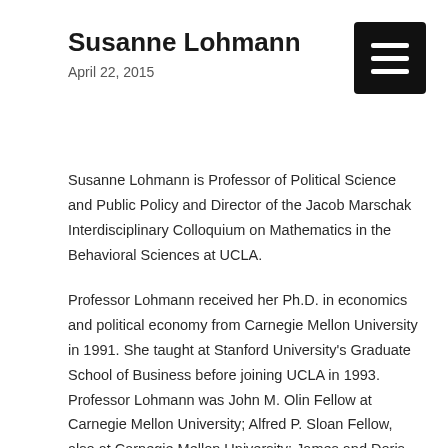Susanne Lohmann
April 22, 2015
Susanne Lohmann is Professor of Political Science and Public Policy and Director of the Jacob Marschak Interdisciplinary Colloquium on Mathematics in the Behavioral Sciences at UCLA.
Professor Lohmann received her Ph.D. in economics and political economy from Carnegie Mellon University in 1991. She taught at Stanford University's Graduate School of Business before joining UCLA in 1993. Professor Lohmann was John M. Olin Fellow at Carnegie Mellon University; Alfred P. Sloan Fellow, also at Carnegie Mellon University; James and Doris McNamara Fellow at Stanford University; John M. Olin Fellow at the University of Southern California; Fellow of the Center for Advanced Study in the Behavioral Sciences; and Fellow of the John Simon